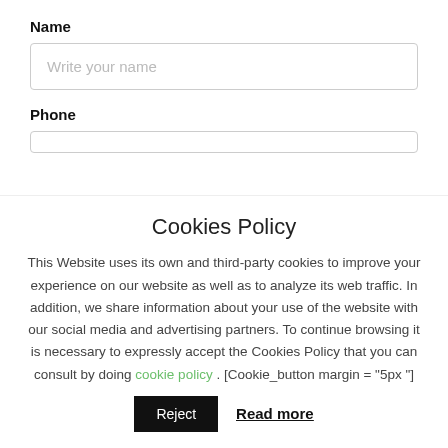Name
Write your name
Phone
Cookies Policy
This Website uses its own and third-party cookies to improve your experience on our website as well as to analyze its web traffic. In addition, we share information about your use of the website with our social media and advertising partners. To continue browsing it is necessary to expressly accept the Cookies Policy that you can consult by doing cookie policy . [Cookie_button margin = "5px "]
Reject
Read more